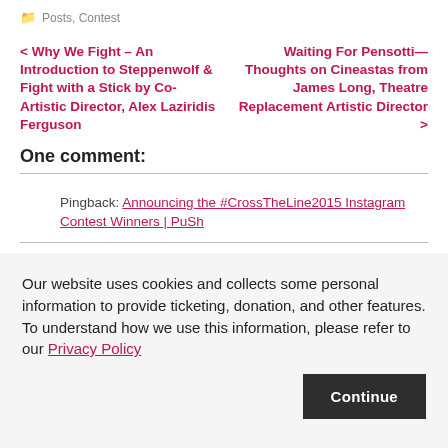Posts, Contest
< Why We Fight – An Introduction to Steppenwolf & Fight with a Stick by Co-Artistic Director, Alex Laziridis Ferguson
Waiting For Pensotti—Thoughts on Cineastas from James Long, Theatre Replacement Artistic Director >
One comment:
Pingback: Announcing the #CrossTheLine2015 Instagram Contest Winners | PuSh
Our website uses cookies and collects some personal information to provide ticketing, donation, and other features. To understand how we use this information, please refer to our Privacy Policy